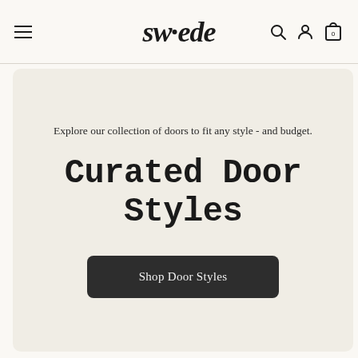swede — navigation bar with hamburger menu, search, account, and cart icons
Explore our collection of doors to fit any style - and budget.
Curated Door Styles
Shop Door Styles